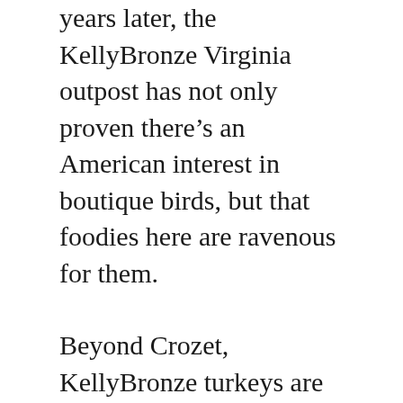years later, the KellyBronze Virginia outpost has not only proven there’s an American interest in boutique birds, but that foodies here are ravenous for them.
Beyond Crozet, KellyBronze turkeys are now sold in New York’s Chelsea Market and at Eataly locations in New York, Los Angeles, Chicago, Dallas, Boston, and Las Vegas.
“Last year we sold out of small birds in September,” says Culver